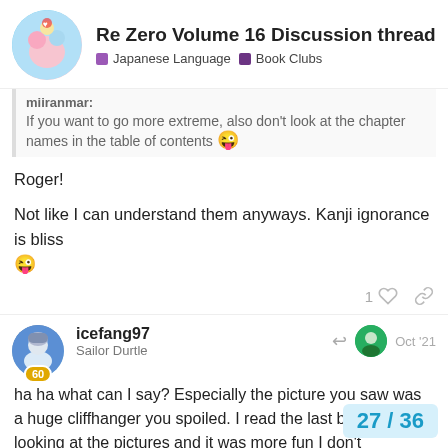Re Zero Volume 16 Discussion thread | Japanese Language | Book Clubs
miiranmar.
If you want to go more extreme, also don't look at the chapter names in the table of contents 😜
Roger!

Not like I can understand them anyways. Kanji ignorance is bliss 😜
icefang97
Sailor Durtle
Oct '21
ha ha what can I say? Especially the picture you saw was a huge cliffhanger you spoiled. I read the last book without looking at the pictures and it was more fun I don't remember the fear anymore.